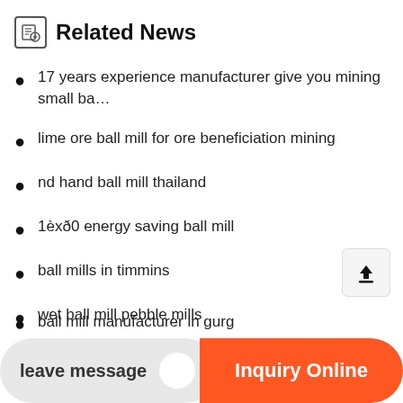Related News
17 years experience manufacturer give you mining small ba…
lime ore ball mill for ore beneficiation mining
nd hand ball mill thailand
1èxð0 energy saving ball mill
ball mills in timmins
wet ball mill pebble mills
ball mill manufacturer in gurg…